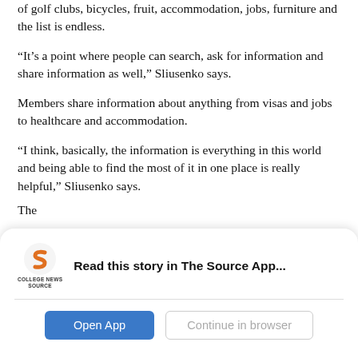of golf clubs, bicycles, fruit, accommodation, jobs, furniture and the list is endless.
“It’s a point where people can search, ask for information and share information as well,” Sliusenko says.
Members share information about anything from visas and jobs to healthcare and accommodation.
“I think, basically, the information is everything in this world and being able to find the most of it in one place is really helpful,” Sliusenko says.
The...
[Figure (screenshot): App download banner for College News Source app with logo, 'Read this story in The Source App...' heading, and two buttons: 'Open App' and 'Continue in browser']